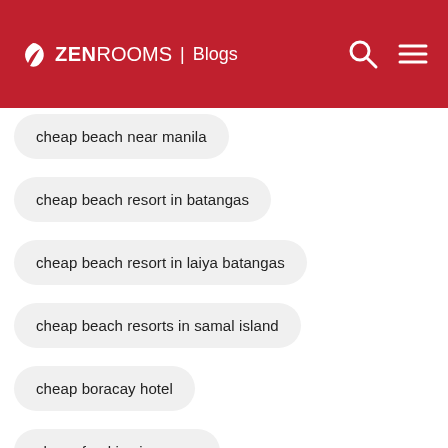ZenRooms | Blogs
cheap beach near manila
cheap beach resort in batangas
cheap beach resort in laiya batangas
cheap beach resorts in samal island
cheap boracay hotel
cheap food in singapore
cheap food trip in manila
cheap hotel
cheap hotel in baguio
cheap hotel in bohol
cheap hotel in vigan
cheap hotels